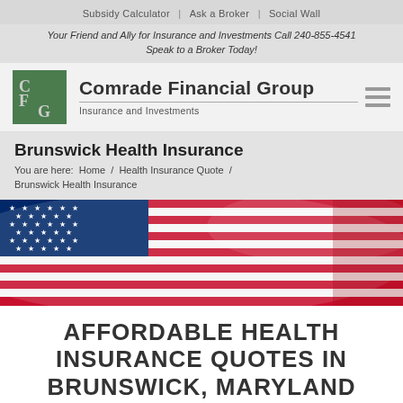Subsidy Calculator | Ask a Broker | Social Wall
Your Friend and Ally for Insurance and Investments Call 240-855-4541 Speak to a Broker Today!
[Figure (logo): Comrade Financial Group logo with green square containing CFG letters, company name and tagline 'Insurance and Investments']
Brunswick Health Insurance
You are here: Home / Health Insurance Quote / Brunswick Health Insurance
[Figure (photo): American flag hero banner image with blue, red, and white stripes and stars]
AFFORDABLE HEALTH INSURANCE QUOTES IN BRUNSWICK, MARYLAND